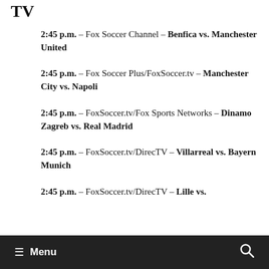TV
2:45 p.m. – Fox Soccer Channel – Benfica vs. Manchester United
2:45 p.m. – Fox Soccer Plus/FoxSoccer.tv – Manchester City vs. Napoli
2:45 p.m. – FoxSoccer.tv/Fox Sports Networks – Dinamo Zagreb vs. Real Madrid
2:45 p.m. – FoxSoccer.tv/DirecTV – Villarreal vs. Bayern Munich
2:45 p.m. – FoxSoccer.tv/DirecTV – Lille vs.
Menu